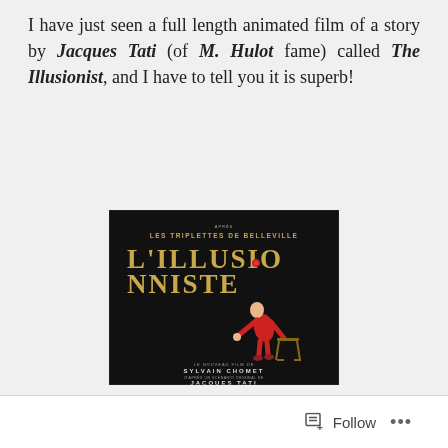I have just seen a full length animated film of a story by Jacques Tati (of M. Hulot fame) called The Illusionist, and I have to tell you it is superb!
[Figure (illustration): Movie poster for L'Illusionniste (The Illusionist) - dark background with golden art-deco title text 'L'ILLUSIONNISTE', subtitle 'LES TRIPLETTES DE BELLEVILLE', animated figure of a man in red suit leaning over a small table, credits for Sylvain Chomet and Jacques Tati at bottom]
Follow ...